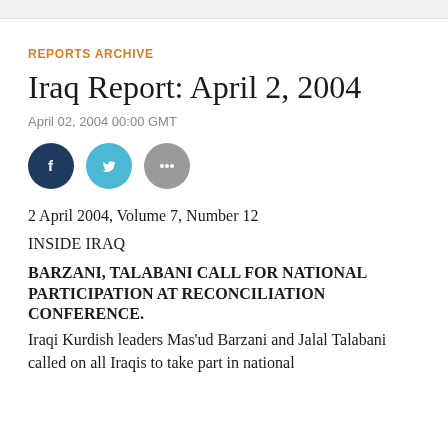REPORTS ARCHIVE
Iraq Report: April 2, 2004
April 02, 2004 00:00 GMT
[Figure (infographic): Social sharing icons: Facebook (dark blue circle), Twitter (light blue circle), More/ellipsis (grey circle)]
2 April 2004, Volume 7, Number 12
INSIDE IRAQ
BARZANI, TALABANI CALL FOR NATIONAL PARTICIPATION AT RECONCILIATION CONFERENCE.
Iraqi Kurdish leaders Mas'ud Barzani and Jalal Talabani called on all Iraqis to take part in national